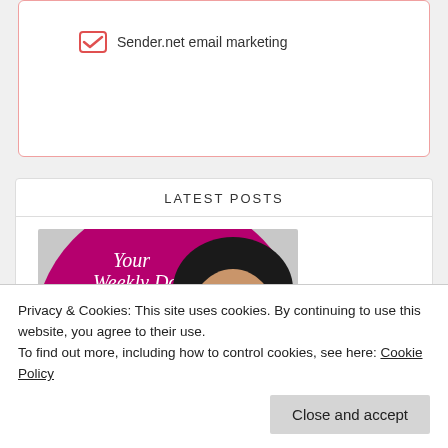[Figure (logo): Sender.net email marketing checkbox icon with text]
LATEST POSTS
[Figure (photo): Podcast image: Your Weekly Dose of LIFE-WORK BALANCE with a woman wearing glasses on a magenta/purple background]
Privacy & Cookies: This site uses cookies. By continuing to use this website, you agree to their use.
To find out more, including how to control cookies, see here: Cookie Policy
Close and accept